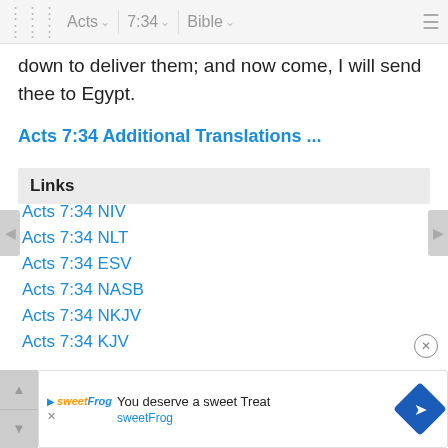Acts 7:34 Bible
down to deliver them; and now come, I will send thee to Egypt.
Acts 7:34 Additional Translations ...
Links
Acts 7:34 NIV
Acts 7:34 NLT
Acts 7:34 ESV
Acts 7:34 NASB
Acts 7:34 NKJV
Acts 7:34 KJV
[Figure (screenshot): Advertisement banner for sweetFrog: 'You deserve a sweet Treat' with sweetFrog logo and navigation arrow icon]